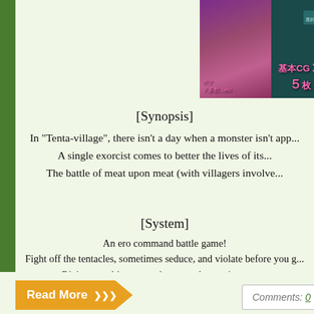[Figure (illustration): Anime-style illustration with purple/tentacle theme, pink Japanese text overlay, right portion shows dark teal game UI with pink text '基本CG２５枚']
[Synopsis]
In "Tenta-village", there isn't a day when a monster isn't app...
A single exorcist comes to better the lives of its...
The battle of meat upon meat (with villagers involve...
[System]
An ero command battle game!
Fight off the tentacles, sometimes seduce, and violate before you g...
Rio's arousal increases the more she receives ero...
When her arousal reaches MAX, she will be "in heat," and h...
Bad ending included! Beware wandering around too muc...
25 base CG + variations (half human scenes, half ten...
- No grotesque / bleeding themes but the bad ending s...
Read More >>>
Comments: 0